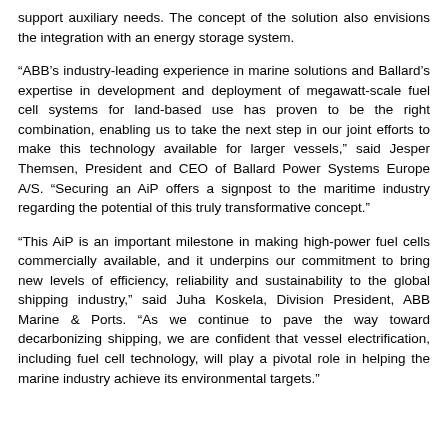support auxiliary needs. The concept of the solution also envisions the integration with an energy storage system.
“ABB’s industry-leading experience in marine solutions and Ballard’s expertise in development and deployment of megawatt-scale fuel cell systems for land-based use has proven to be the right combination, enabling us to take the next step in our joint efforts to make this technology available for larger vessels,” said Jesper Themsen, President and CEO of Ballard Power Systems Europe A/S. “Securing an AiP offers a signpost to the maritime industry regarding the potential of this truly transformative concept.”
“This AiP is an important milestone in making high-power fuel cells commercially available, and it underpins our commitment to bring new levels of efficiency, reliability and sustainability to the global shipping industry,” said Juha Koskela, Division President, ABB Marine & Ports. “As we continue to pave the way toward decarbonizing shipping, we are confident that vessel electrification, including fuel cell technology, will play a pivotal role in helping the marine industry achieve its environmental targets.”